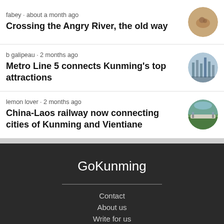fabey · about a month ago
Crossing the Angry River, the old way
b galipeau · 2 months ago
Metro Line 5 connects Kunming's top attractions
lemon lover · 2 months ago
China-Laos railway now connecting cities of Kunming and Vientiane
GoKunming
Contact
About us
Write for us
Internships
Copyright statement
Privacy statement
Terms of service
Posting guidelines